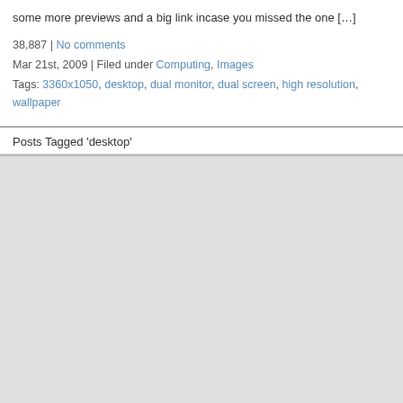some more previews and a big link incase you missed the one […]
38,887 | No comments
Mar 21st, 2009 | Filed under Computing, Images
Tags: 3360x1050, desktop, dual monitor, dual screen, high resolution, wallpaper
Posts Tagged 'desktop'